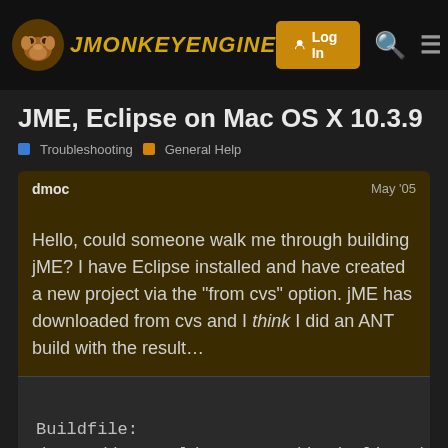jMonkeyEngine — Log In
JME, Eclipse on Mac OS X 10.3.9
Troubleshooting   General Help
dmoc   May '05
Hello, could someone walk me through building jME? I have Eclipse installed and have created a new project via the "from cvs" option. jME has downloaded from cvs and I think I did an ANT build with the result…
Buildfile: /Users/doconnel/Documents/dev/eclipse/workspace/jme/build.xml